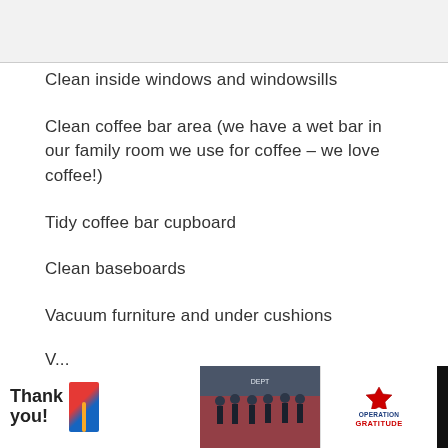Clean inside windows and windowsills
Clean coffee bar area (we have a wet bar in our family room we use for coffee – we love coffee!)
Tidy coffee bar cupboard
Clean baseboards
Vacuum furniture and under cushions
[Figure (photo): Advertisement banner at bottom: 'Thank you' text with pencil graphic, firefighters photo, Operation Gratitude logo, close button, and weather widget]
V... (partial text cut off at bottom)